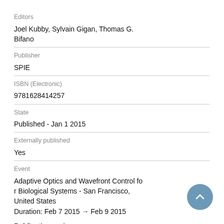Editors
Joel Kubby, Sylvain Gigan, Thomas G. Bifano
Publisher
SPIE
ISBN (Electronic)
9781628414257
State
Published - Jan 1 2015
Externally published
Yes
Event
Adaptive Optics and Wavefront Control for Biological Systems - San Francisco, United States
Duration: Feb 7 2015 → Feb 9 2015
Publication series